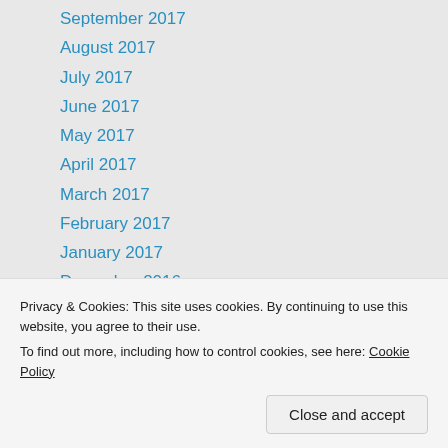September 2017
August 2017
July 2017
June 2017
May 2017
April 2017
March 2017
February 2017
January 2017
December 2016
November 2016
October 2016
September 2016
August 2016
Privacy & Cookies: This site uses cookies. By continuing to use this website, you agree to their use. To find out more, including how to control cookies, see here: Cookie Policy
February 2016